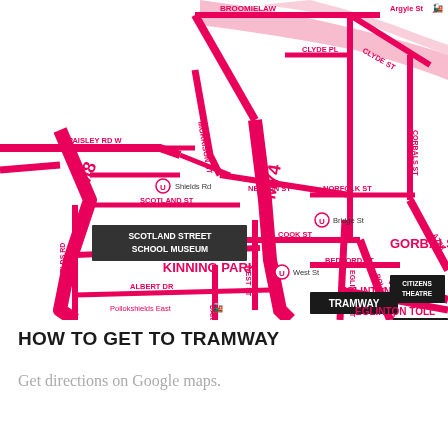[Figure (map): Street map of Glasgow showing Tramway, Scotland Street School Museum, Citizens Theatre, Kinning Park, Gorbals area with major roads including M8, M74, Paisley Rd W, Morrison St, Nelson St, Norfolk St, Clyde St, Broomielaw, Cook St, Bedford St, West St, Eglinton St, Pollokshaws Rd, St Andrews Rd, Albert Dr, Darnley St, Shields Rd, A728. Underground stations marked at Shields Rd, Bridge St, and West St. Pink/magenta color scheme for roads on white background.]
HOW TO GET TO TRAMWAY
Get directions on Google maps.